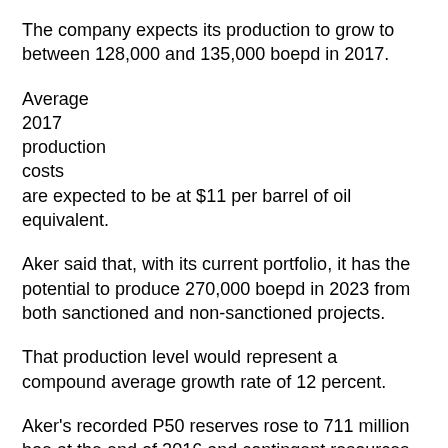The company expects its production to grow to between 128,000 and 135,000 boepd in 2017.
Average
2017
production
costs
are expected to be at $11 per barrel of oil equivalent.
Aker said that, with its current portfolio, it has the potential to produce 270,000 boepd in 2023 from both sanctioned and non-sanctioned projects.
That production level would represent a compound average growth rate of 12 percent.
Aker's recorded P50 reserves rose to 711 million boe at the end of 2016 and contingent resources were estimated at 600 million boe at year-end 2016, an 84 percent year-over-year increase.